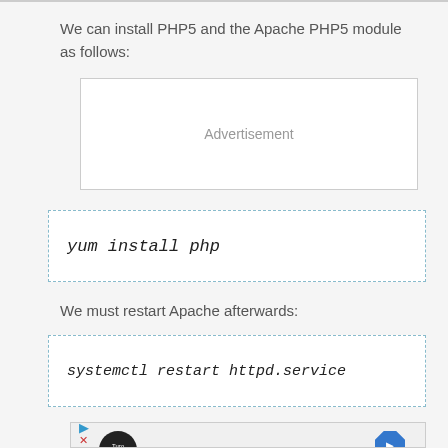We can install PHP5 and the Apache PHP5 module as follows:
[Figure (other): Advertisement placeholder box]
yum install php
We must restart Apache afterwards:
systemctl restart httpd.service
[Figure (other): Advertisement with Turo Auto logo and navigation arrow icon]